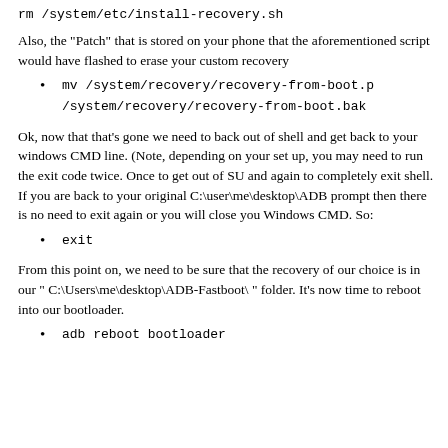rm /system/etc/install-recovery.sh
Also, the "Patch" that is stored on your phone that the aforementioned script would have flashed to erase your custom recovery
mv /system/recovery/recovery-from-boot.p /system/recovery/recovery-from-boot.bak
Ok, now that that's gone we need to back out of shell and get back to your windows CMD line. (Note, depending on your set up, you may need to run the exit code twice. Once to get out of SU and again to completely exit shell. If you are back to your original C:\user\me\desktop\ADB prompt then there is no need to exit again or you will close you Windows CMD. So:
exit
From this point on, we need to be sure that the recovery of our choice is in our " C:\Users\me\desktop\ADB-Fastboot\ " folder. It's now time to reboot into our bootloader.
adb reboot bootloader